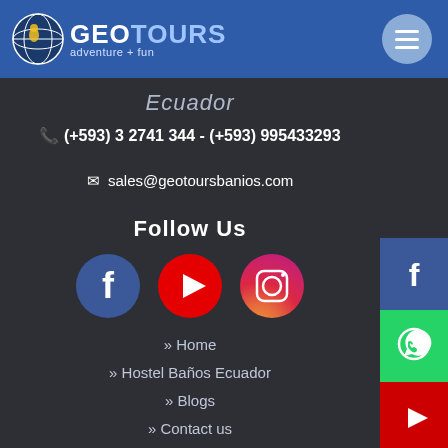GEOTOURS adventure + fun
Ecuador
(+593) 3 2741 344 - (+593) 995433293
sales@geotoursbanios.com
Follow Us
[Figure (infographic): Three social media icons: Facebook (blue circle), YouTube (red circle), Instagram (gradient circle)]
>> Home
>> Hostel Baños Ecuador
>> Blogs
>> Contact us
[Figure (infographic): Right sidebar social media icons: Facebook (dark blue), WhatsApp (green), YouTube (red), Instagram (dark)]